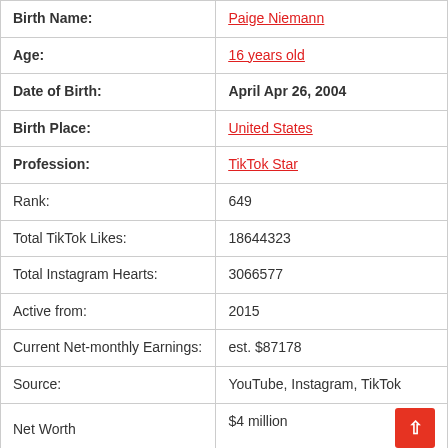| Field | Value |
| --- | --- |
| Birth Name: | Paige Niemann |
| Age: | 16 years old |
| Date of Birth: | April Apr 26, 2004 |
| Birth Place: | United States |
| Profession: | TikTok Star |
| Rank: | 649 |
| Total TikTok Likes: | 18644323 |
| Total Instagram Hearts: | 3066577 |
| Active from: | 2015 |
| Current Net-monthly Earnings: | est. $87178 |
| Source: | YouTube, Instagram, TikTok |
| Net Worth | $4 million |
| Favorite Ride: | Cars |